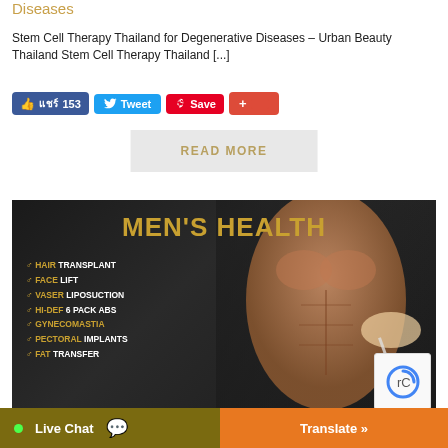Diseases
Stem Cell Therapy Thailand for Degenerative Diseases – Urban Beauty Thailand Stem Cell Therapy Thailand [...]
[Figure (screenshot): Social share buttons: Facebook like 153, Tweet, Save (Pinterest), and a red plus button]
[Figure (screenshot): READ MORE button in grey/beige styling]
[Figure (photo): Men's Health promotional banner with dark background showing a male torso with surgical markings. Gold text reads MEN'S HEALTH. List of procedures: Hair Transplant, Face Lift, Vaser Liposuction, Hi-Def 6 Pack Abs, Gynecomastia, Pectoral Implants, Fat Transfer]
[Figure (screenshot): Live Chat button (olive/dark yellow background) on bottom left and Translate button (orange background) on bottom right]